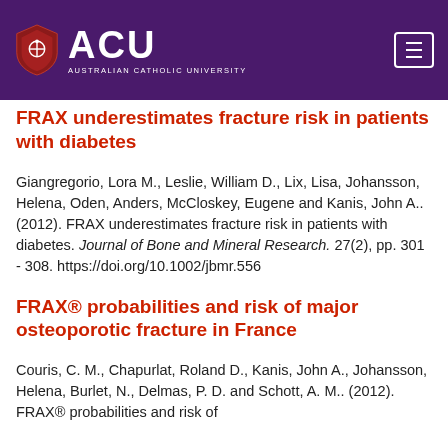[Figure (logo): Australian Catholic University (ACU) logo with shield icon on dark purple header bar with hamburger menu button]
FRAX underestimates fracture risk in patients with diabetes
Giangregorio, Lora M., Leslie, William D., Lix, Lisa, Johansson, Helena, Oden, Anders, McCloskey, Eugene and Kanis, John A.. (2012). FRAX underestimates fracture risk in patients with diabetes. Journal of Bone and Mineral Research. 27(2), pp. 301 - 308. https://doi.org/10.1002/jbmr.556
FRAX® probabilities and risk of major osteoporotic fracture in France
Couris, C. M., Chapurlat, Roland D., Kanis, John A., Johansson, Helena, Burlet, N., Delmas, P. D. and Schott, A. M.. (2012). FRAX® probabilities and risk of major osteoporotic fracture in France. Cut to...